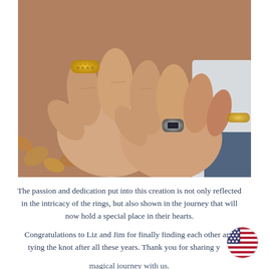[Figure (photo): Close-up photograph of two hands with fists touching. The left hand wears a wide gold textured honeycomb-pattern band ring on the ring finger. The right hand wears a silver signet-style ring with a dark stone. Background shows autumn leaves and fabric.]
The passion and dedication put into this creation is not only reflected in the intricacy of the rings, but also shown in the journey that will now hold a special place in their hearts.
Congratulations to Liz and Jim for finally finding each other and tying the knot after all these years. Thank you for sharing your magical journey with us.
[Figure (illustration): Circular American flag emoji/icon in the bottom right corner.]